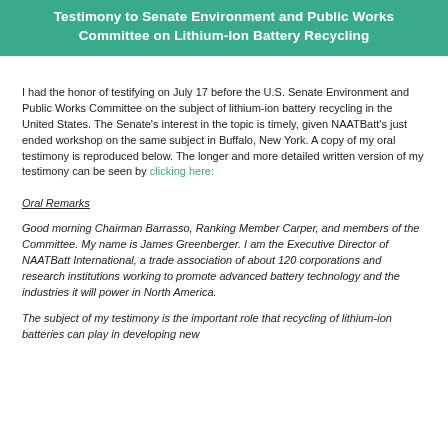Testimony to Senate Environment and Public Works Committee on Lithium-Ion Battery Recycling
I had the honor of testifying on July 17 before the U.S. Senate Environment and Public Works Committee on the subject of lithium-ion battery recycling in the United States.  The Senate's interest in the topic is timely, given NAATBatt's just ended workshop on the same subject in Buffalo, New York.  A copy of my oral testimony is reproduced below.  The longer and more detailed written version of my testimony can be seen by clicking here:
Oral Remarks
Good morning Chairman Barrasso, Ranking Member Carper, and members of the Committee.  My name is James Greenberger.  I am the Executive Director of NAATBatt International, a trade association of about 120 corporations and research institutions working to promote advanced battery technology and the industries it will power in North America.
The subject of my testimony is the important role that recycling of lithium-ion batteries can play in developing new